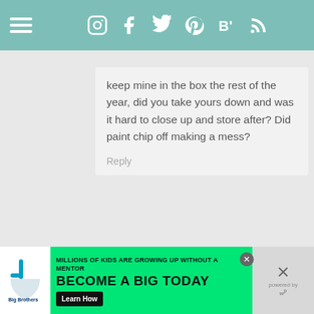Navigation bar with hamburger menu and social icons: Instagram, Facebook, Twitter, Pinterest, Bloglovin, RSS
keep mine in the box the rest of the year, did you take yours down and was it hard to close up and store after? Did paint chip off making a mess?
Reply
Pingback: 20 Out Of This World Galaxy DIYs - Ginger Casa
Pingback: The Throwback Christmas Tree Trend That...
1
[Figure (other): Floating action button with heart icon (teal circle) and share button (white circle with share icon), count: 1]
[Figure (screenshot): Advertisement banner: Big Brothers Big Sisters of America - MILLIONS OF KIDS ARE GROWING UP WITHOUT A MENTOR. BECOME A BIG TODAY. Learn How button.]